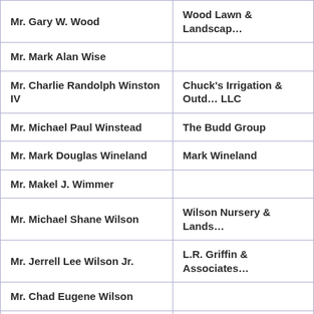| Name | Company |
| --- | --- |
| Mr. Gary W. Wood | Wood Lawn & Landscap… |
| Mr. Mark Alan Wise |  |
| Mr. Charlie Randolph Winston IV | Chuck's Irrigation & Outd… LLC |
| Mr. Michael Paul Winstead | The Budd Group |
| Mr. Mark Douglas Wineland | Mark Wineland |
| Mr. Makel J. Wimmer |  |
| Mr. Michael Shane Wilson | Wilson Nursery & Lands… |
| Mr. Jerrell Lee Wilson Jr. | L.R. Griffin & Associates… |
| Mr. Chad Eugene Wilson |  |
| Mr. Donell Wayne Williard Sr. | Donnie Williard's Lawn C… |
| Mr. John Henry Williamson, Jr. | Flat Rock Landscaping… |